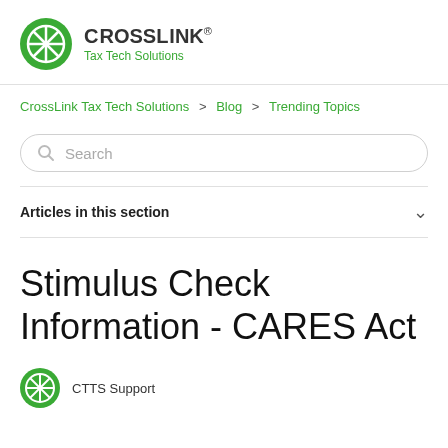CrossLink Tax Tech Solutions
CrossLink Tax Tech Solutions > Blog > Trending Topics
Search
Articles in this section
Stimulus Check Information - CARES Act
CTTS Support